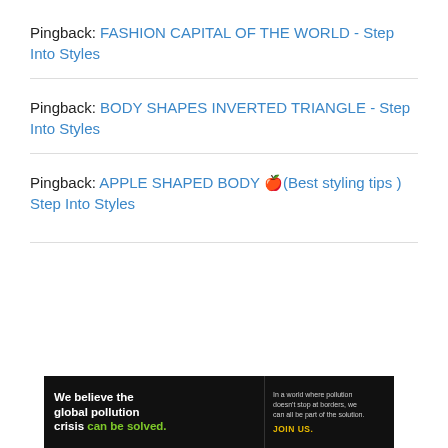Pingback: FASHION CAPITAL OF THE WORLD - Step Into Styles
Pingback: BODY SHAPES INVERTED TRIANGLE - Step Into Styles
Pingback: APPLE SHAPED BODY 🍎(Best styling tips ) Step Into Styles
[Figure (other): Pure Earth advertisement banner: 'We believe the global pollution crisis can be solved.' with tagline 'In a world where pollution doesn't stop at borders, we can all be part of the solution. JOIN US.' and Pure Earth logo on right.]